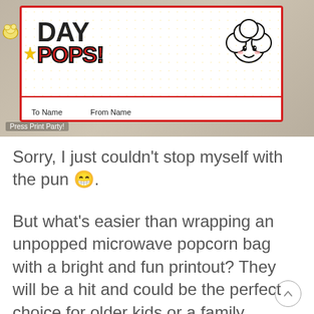[Figure (photo): Photo of a microwave popcorn bag wrapped with a colorful printout label reading 'DAY POPS!' with 'To Name' and 'From Name' fields, decorated with stars, dots, and a kawaii popcorn character. Watermark reads 'Press Print Party!']
Press Print Party!
Sorry, I just couldn't stop myself with the pun 😁.
But what's easier than wrapping an unpopped microwave popcorn bag with a bright and fun printout? They will be a hit and could be the perfect choice for older kids or a family member as well.